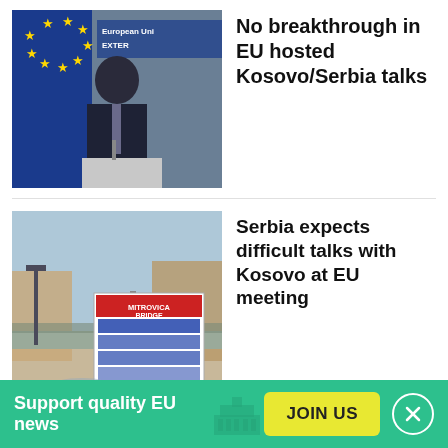[Figure (photo): Man in suit at EU External Action press conference with EU flag]
No breakthrough in EU hosted Kosovo/Serbia talks
[Figure (photo): Mitrovica Bridge sign in Kosovo/Serbia]
Serbia expects difficult talks with Kosovo at EU meeting
[Figure (infographic): Dark brown promotional banner with text 'Want to be on top of EU news every']
Support quality EU news  JOIN US